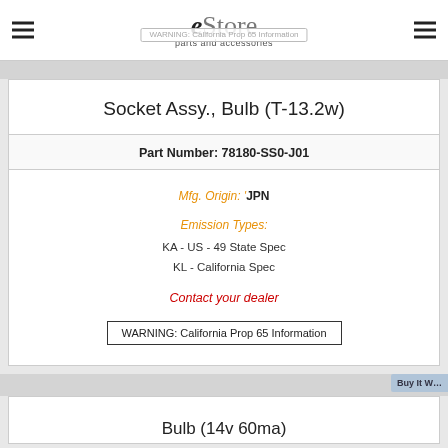eStore parts and accessories
Socket Assy., Bulb (T-13.2w)
Part Number: 78180-SS0-J01
Mfg. Origin: 'JPN
Emission Types:
KA - US - 49 State Spec
KL - California Spec
Contact your dealer
WARNING: California Prop 65 Information
Bulb (14v 60ma)